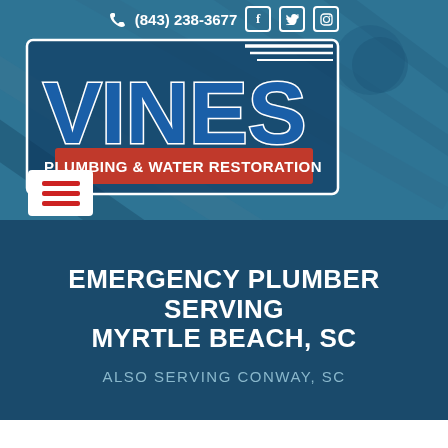(843) 238-3677
[Figure (logo): Vines Plumbing & Water Restoration logo — large blue stylized text 'VINES' with a wrench/plumbing graphic incorporated into the V, red and white text 'PLUMBING & WATER RESTORATION' below]
EMERGENCY PLUMBER SERVING MYRTLE BEACH, SC
ALSO SERVING CONWAY, SC